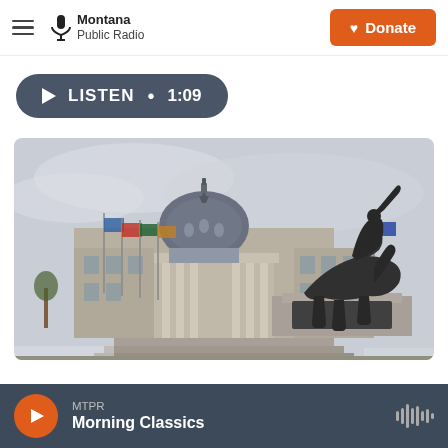Montana Public Radio | Donate
[Figure (other): Listen button: play icon, LISTEN • 1:09]
[Figure (photo): Montana State Capitol building with a bronze equestrian statue of a soldier in the foreground, flags, overcast sky, winter scene]
MTPR Morning Classics